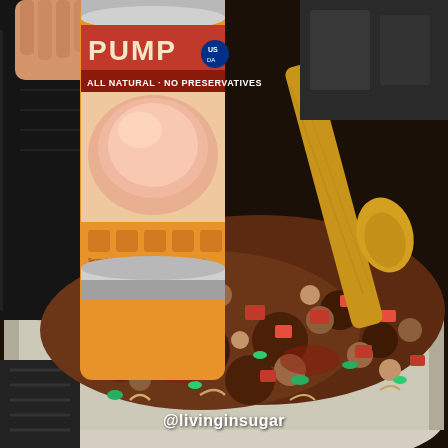[Figure (photo): A hand holding a can of Pumpernickel (orange label, reading 'ALL NATURAL - NO PRESERVATIVES') being poured or held over a large white cooking pot on a stove. Inside the pot is a mixture of ground meat, diced tomatoes, green bell peppers, and pasta/noodles being stirred with a wooden spoon. The food appears to be a meat sauce or chili-type dish with tomatoes. The background shows a dark stovetop.]
@livinginsugar